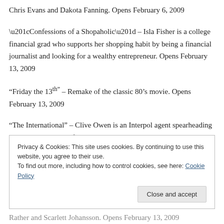Chris Evans and Dakota Fanning. Opens February 6, 2009
“Confessions of a Shopaholic” – Isla Fisher is a college financial grad who supports her shopping habit by being a financial journalist and looking for a wealthy entrepreneur. Opens February 13, 2009
“Friday the 13th” – Remake of the classic 80’s movie. Opens February 13, 2009
“The International” – Clive Owen is an Interpol agent spearheading an investigation into financial corruption. Naomi Watts is an attorney who teams up with him to take a bank down. Opens February 13, 2009
Privacy & Cookies: This site uses cookies. By continuing to use this website, you agree to their use.
To find out more, including how to control cookies, see here: Cookie Policy
Close and accept
Rather and Scarlett Johansson. Opens February 13, 2009